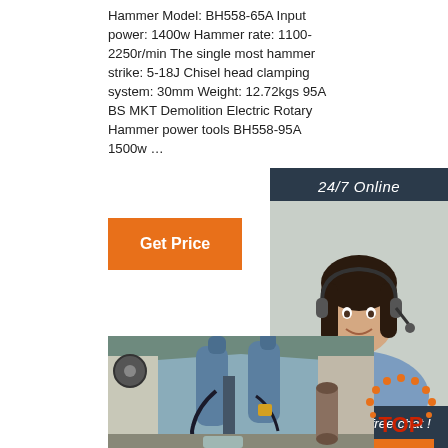Hammer Model: BH558-65A Input power: 1400w Hammer rate: 1100-2250r/min The single most hammer strike: 5-18J Chisel head clamping system: 30mm Weight: 12.72kgs 95A BS MKT Demolition Electric Rotary Hammer power tools BH558-95A 1500w …
[Figure (other): Orange 'Get Price' button]
[Figure (other): Sidebar with '24/7 Online' label, customer service representative photo with headset, 'Click here for free chat!' text, and orange QUOTATION button]
[Figure (photo): Industrial machinery photo showing large blue pneumatic/hydraulic drilling equipment in a warehouse/factory setting]
[Figure (logo): TOP badge logo in bottom right corner with orange dotted arch pattern and red text]